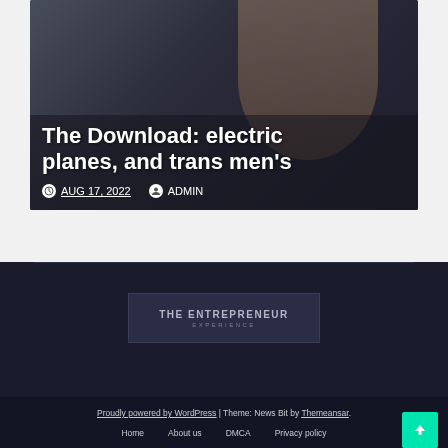[Figure (screenshot): Article card with dark overlay showing partial headline 'The Download: electric planes, and trans men's', date AUG 17, 2022 and author ADMIN]
The Download: electric planes, and trans men's
AUG 17, 2022  ADMIN
[Figure (logo): THE ENTREPRENEUR EXPERIENCE logo on dark background]
Proudly powered by WordPress | Theme: News Bit by Themeansar.
Home   About us   DMCA   Privacy policy